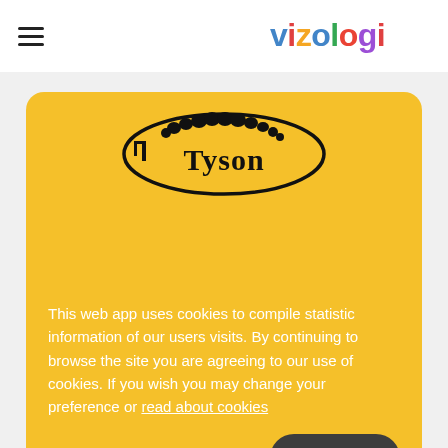vizologi
[Figure (logo): Tyson Foods logo — oval black border with 'Tyson' text in bold serif font and decorative elements on a yellow background]
This web app uses cookies to compile statistic information of our users visits. By continuing to browse the site you are agreeing to our use of cookies. If you wish you may change your preference or read about cookies